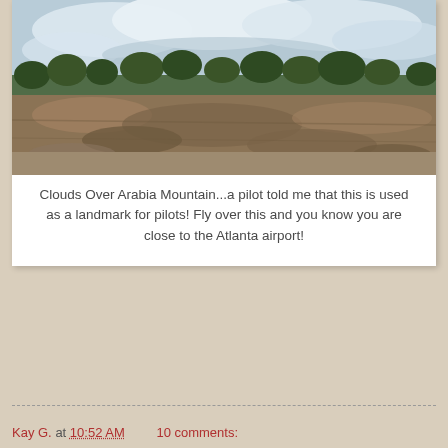[Figure (photo): Landscape photograph showing Arabia Mountain terrain — rocky flat ground, dry grass and dirt in foreground, trees along the horizon, and a cloudy sky above.]
Clouds Over Arabia Mountain...a pilot told me that this is used as a landmark for pilots! Fly over this and you know you are close to the Atlanta airport!
Kay G. at 10:52 AM   10 comments: